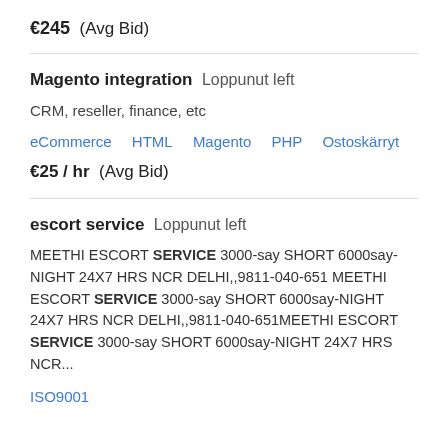€245  (Avg Bid)
Magento integration  Loppunut left
CRM, reseller, finance, etc
eCommerce  HTML  Magento  PHP  Ostoskärryt
€25 / hr  (Avg Bid)
escort service  Loppunut left
MEETHI ESCORT SERVICE 3000-say SHORT 6000say-NIGHT 24X7 HRS NCR DELHI,,9811-040-651 MEETHI ESCORT SERVICE 3000-say SHORT 6000say-NIGHT 24X7 HRS NCR DELHI,,9811-040-651MEETHI ESCORT SERVICE 3000-say SHORT 6000say-NIGHT 24X7 HRS NCR...
ISO9001